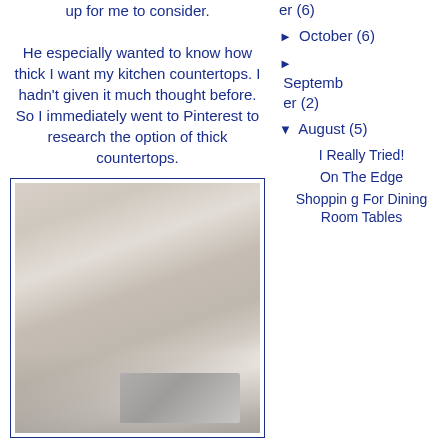up for me to consider.
He especially wanted to know how thick I want my kitchen countertops. I hadn't given it much thought before. So I immediately went to Pinterest to research the option of thick countertops.
[Figure (photo): Kitchen interior photo showing white cabinetry, crown molding, and a stainless steel range hood]
► er (6)
► October (6)
► September (2)
▼ August (5)
I Really Tried!
On The Edge
Shopping For Dining Room Tables